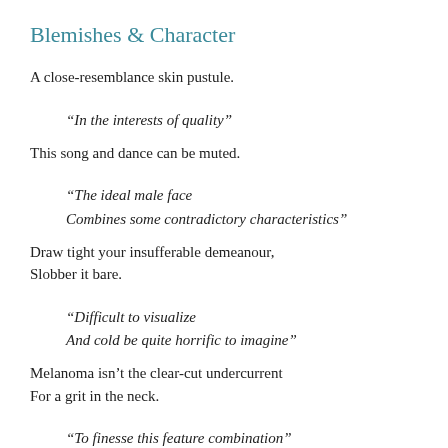Blemishes & Character
A close-resemblance skin pustule.
“In the interests of quality”
This song and dance can be muted.
“The ideal male face
Combines some contradictory characteristics”
Draw tight your insufferable demeanour,
Slobber it bare.
“Difficult to visualize
And cold be quite horrific to imagine”
Melanoma isn’t the clear-cut undercurrent
For a grit in the neck.
“To finesse this feature combination”